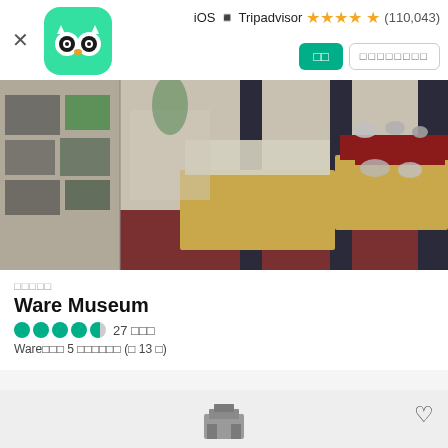iOS · Tripadvisor ★★★★½ (110,043)
[Figure (photo): Interior of Ware Museum showing display cases with silver/metal artifacts on red velvet, dark metal pillars, and wall-mounted exhibits with photos and text panels.]
□□□□□
Ware Museum
●●●●◑ 27 □□□
Ware□□□ 5 □□□□□□ (□ 13 □)